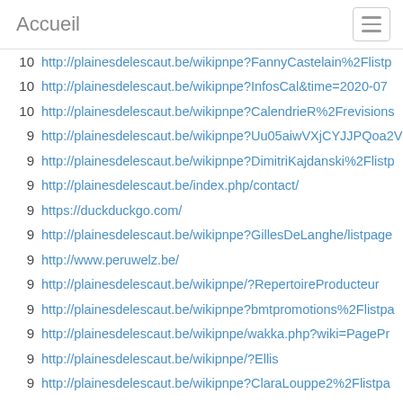Accueil
10   http://plainesdelescaut.be/wikipnpe?FannyCastelain%2Flistp
10   http://plainesdelescaut.be/wikipnpe?InfosCal&time=2020-07
10   http://plainesdelescaut.be/wikipnpe?CalendrieR%2Frevisions
9   http://plainesdelescaut.be/wikipnpe?Uu05aiwVXjCYJJPQoa2V
9   http://plainesdelescaut.be/wikipnpe?DimitriKajdanski%2Flistp
9   http://plainesdelescaut.be/index.php/contact/
9   https://duckduckgo.com/
9   http://plainesdelescaut.be/wikipnpe?GillesDeLanghe/listpage
9   http://www.peruwelz.be/
9   http://plainesdelescaut.be/wikipnpe/?RepertoireProducteur
9   http://plainesdelescaut.be/wikipnpe?bmtpromotions%2Flistpa
9   http://plainesdelescaut.be/wikipnpe/wakka.php?wiki=PagePr
9   http://plainesdelescaut.be/wikipnpe/?Ellis
9   http://plainesdelescaut.be/wikipnpe?ClaraLouppe2%2Flistpa
9   http://plainesdelescaut.be/wikipnpe?AnneLiseZenoni/listpage
9   http://plainesdelescaut.be/wikipnpe?MarieAngeDesmons/list
8   http://carteprof.be/
8   http://plainesdelescaut.be/wikipnpe?SeanceDInformationFor
8   http://www.google.com
8   http://plainesdelescaut.be/wikipnpe?InfosCal/revisions